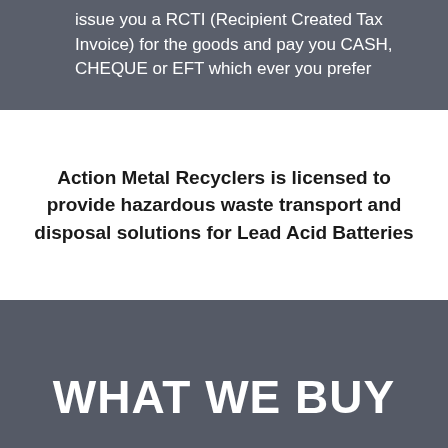issue you a RCTI (Recipient Created Tax Invoice) for the goods and pay you CASH, CHEQUE or EFT which ever you prefer
Action Metal Recyclers is licensed to provide hazardous waste transport and disposal solutions for Lead Acid Batteries
WHAT WE BUY